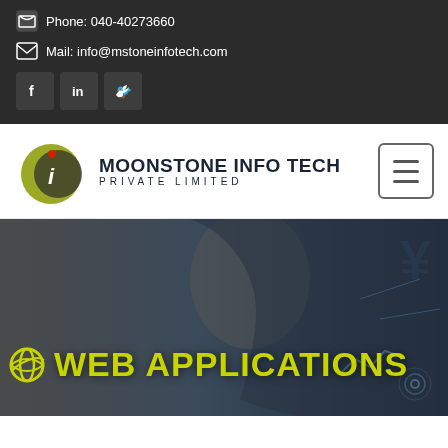Phone: 040-40273660
Mail: info@mstoneinfotech.com
[Figure (logo): Social media icons: Facebook, LinkedIn, Twitter buttons]
[Figure (logo): Moonstone Info Tech Private Limited logo with circular moon-and-i emblem]
MOONSTONE INFO TECH PRIVATE LIMITED
[Figure (illustration): Hero banner with dark overlay showing a face profile and tech graphics with text 'WEB APPLICATIONS' in yellow-green]
WEB APPLICATIONS